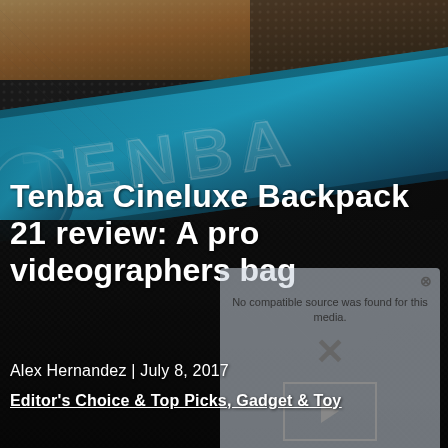[Figure (photo): Close-up photo of a Tenba camera bag/backpack showing teal/blue embossed TENBA branding on dark textured nylon material, viewed at an angle]
Tenba Cineluxe Backpack 21 review: A pro videographers bag
Alex Hernandez | July 8, 2017
Editor's Choice & Top Picks, Gadget & Toy